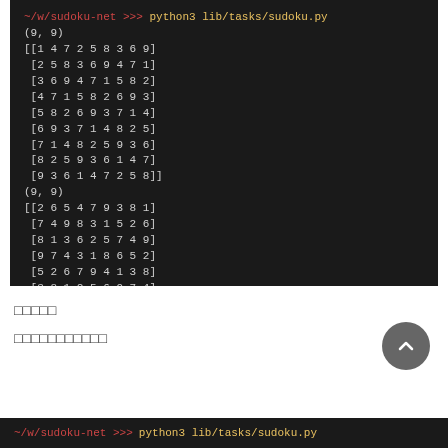[Figure (screenshot): Terminal screenshot showing python3 lib/tasks/sudoku.py output with two 9x9 sudoku grids]
□□□□□
□□□□□□□□□□□
[Figure (screenshot): Bottom partial terminal screenshot showing python3 lib/tasks/sudoku.py prompt]